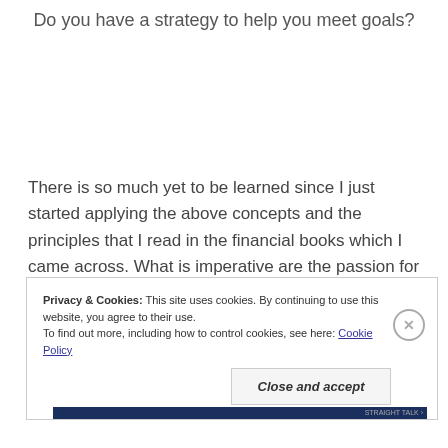Do you have a strategy to help you meet goals?
There is so much yet to be learned since I just started applying the above concepts and the principles that I read in the financial books which I came across. What is imperative are the passion for learning new things and the openness to new ideas.
Privacy & Cookies: This site uses cookies. By continuing to use this website, you agree to their use.
To find out more, including how to control cookies, see here: Cookie Policy
Close and accept